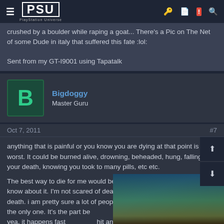PSU PlayStation Universe
crushed by a boulder while raping a goat... There's a Pic on The Net of some Dude in italy that suffered this fate :lol:

Sent from my GT-I9001 using Tapatalk
Bigdoggy
Master Guru
Oct 7, 2011  #7
anything that is painful or you know you are dying at that point is the worst. It could be burned alive, drowning, beheaded, hung, falling to your death, knowing you took to many pills, etc etc.

The best way to die for me would be dying in my sleep, I wouldn't for know about it. I'm not scared of death in itself, it's the part before the death. i am pretty sure a lot of people feel the same, I know I'm not the only one. It's the part before dyeing that I don't want to know about. yea, it happens fast if you get hit another car head on going 100mph.

know you are going to die ... and its that dread...
[Figure (screenshot): Advertisement overlay: THE HORIZON NETFLIX SHOW WILL STAR ALOY AND BE BASED ON THE TWO GAMES]